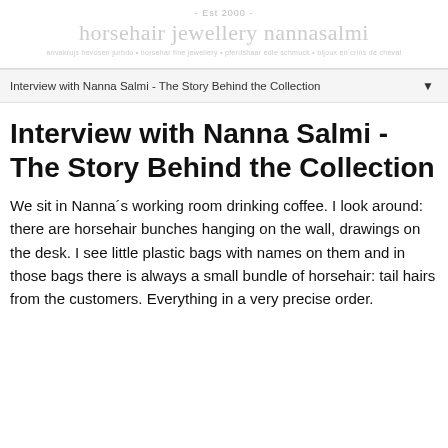- Est 2000 -
horsehair jewellery nannasalmi
anvakrujs hevosen jurhdo • horsehar fine jewellery • pferdshaar edle schmuck • bijoux en crins de cheval
Interview with Nanna Salmi - The Story Behind the Collection
Interview with Nanna Salmi - The Story Behind the Collection
We sit in Nanna´s working room drinking coffee. I look around: there are horsehair bunches hanging on the wall, drawings on the desk. I see little plastic bags with names on them and in those bags there is always a small bundle of horsehair: tail hairs from the customers. Everything in a very precise order.